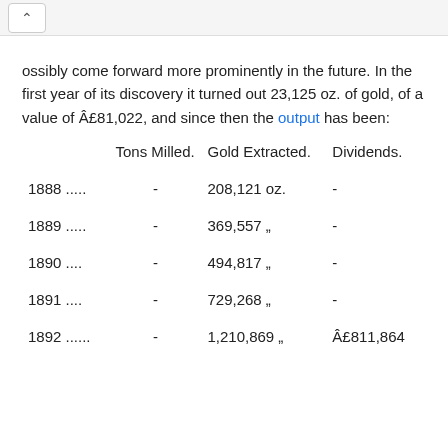ossibly come forward more prominently in the future. In the first year of its discovery it turned out 23,125 oz. of gold, of a value of £81,022, and since then the output has been:
|  | Tons Milled. | Gold Extracted. | Dividends. |
| --- | --- | --- | --- |
| 1888 ..... | - | 208,121 oz. | - |
| 1889 ..... | - | 369,557 „ | - |
| 1890 .... | - | 494,817 „ | - |
| 1891 .... | - | 729,268 „ | - |
| 1892 ...... | - | 1,210,869 „ | £811,864 |